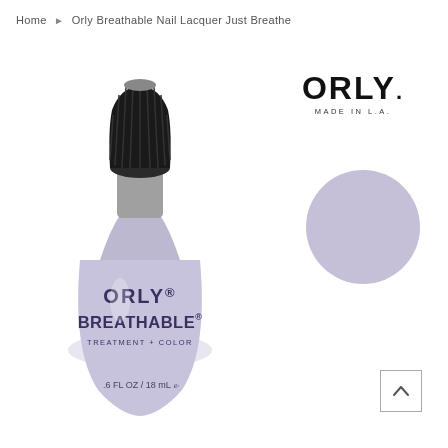Home ▶ Orly Breathable Nail Lacquer Just Breathe
[Figure (photo): Orly Breathable Nail Lacquer bottle in lavender/lilac color with black cap. Label reads ORLY BREATHABLE TREATMENT + COLOR .6 FL OZ / 18 mL]
[Figure (logo): ORLY logo with MADE IN L.A. text below]
[Figure (other): Round color swatch in soft lavender/lilac color showing the nail polish shade]
[Figure (other): Scroll-to-top button with upward chevron arrow inside a square border]